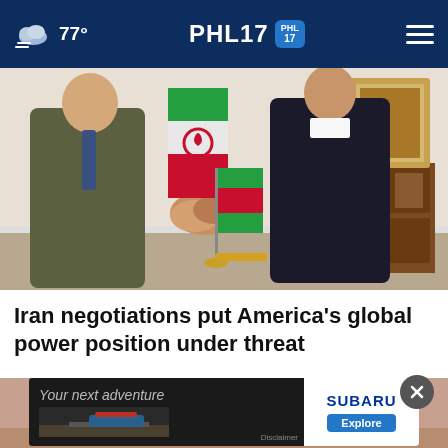77° PHL17 PHL17
[Figure (photo): Two men in suits shaking hands in front of an Iranian flag with a small red table flag; wooden furniture visible in background]
Iran negotiations put America's global power position under threat
[Figure (photo): Close-up photo of hands, partially visible, earthy tones]
[Figure (photo): Subaru advertisement banner reading 'Your next adventure' with a Subaru SUV on a road; Subaru logo and Explore button on right side]